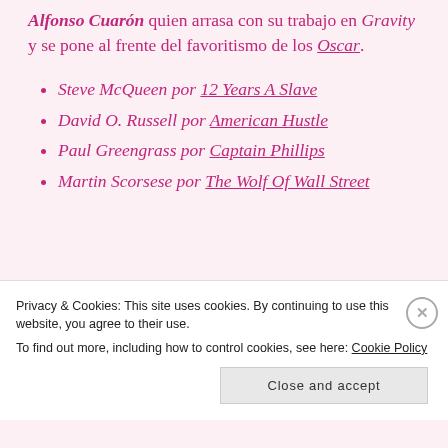Alfonso Cuarón quien arrasa con su trabajo en Gravity y se pone al frente del favoritismo de los Oscar.
Steve McQueen por 12 Years A Slave
David O. Russell por American Hustle
Paul Greengrass por Captain Phillips
Martin Scorsese por The Wolf Of Wall Street
Privacy & Cookies: This site uses cookies. By continuing to use this website, you agree to their use. To find out more, including how to control cookies, see here: Cookie Policy